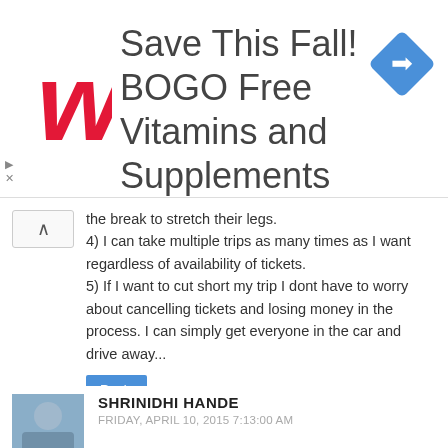[Figure (illustration): Walgreens advertisement banner: red Walgreens cursive W logo on left, large text 'Save This Fall! BOGO Free Vitamins and Supplements', blue diamond navigation icon on right]
the break to stretch their legs.
4) I can take multiple trips as many times as I want regardless of availability of tickets.
5) If I want to cut short my trip I dont have to worry about cancelling tickets and losing money in the process. I can simply get everyone in the car and drive away...
Reply
SHRINIDHI HANDE
FRIDAY, APRIL 10, 2015 7:13:00 AM
@Anu
Appreciate your detailed reply.

On your first comment, yes, consumers are smart- no one will buy this car because of this ad. I wasn't intending to fight every ad.. Having traveled between the 2 cities in all modes of transportation, I